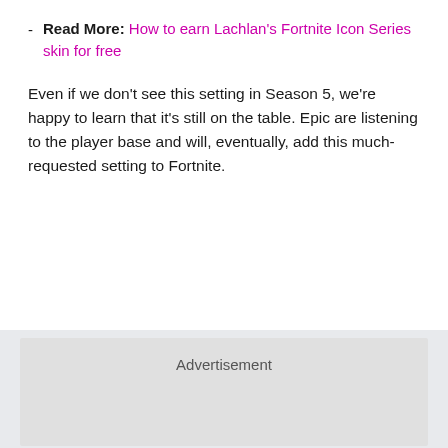Read More: How to earn Lachlan's Fortnite Icon Series skin for free
Even if we don't see this setting in Season 5, we're happy to learn that it's still on the table. Epic are listening to the player base and will, eventually, add this much-requested setting to Fortnite.
[Figure (other): Advertisement placeholder block with gray background]